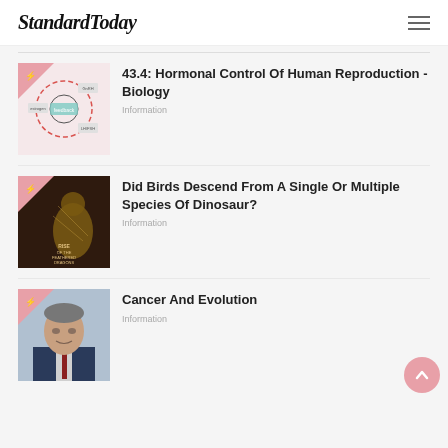StandardToday
[Figure (illustration): Biology diagram thumbnail with pink triangle badge showing hormonal control illustration]
43.4: Hormonal Control Of Human Reproduction - Biology
Information
[Figure (photo): Book cover thumbnail 'Rise of the Feathered Dragons' with dinosaur image and pink triangle badge]
Did Birds Descend From A Single Or Multiple Species Of Dinosaur?
Information
[Figure (photo): Portrait photo of elderly man in suit and tie with pink triangle badge]
Cancer And Evolution
Information